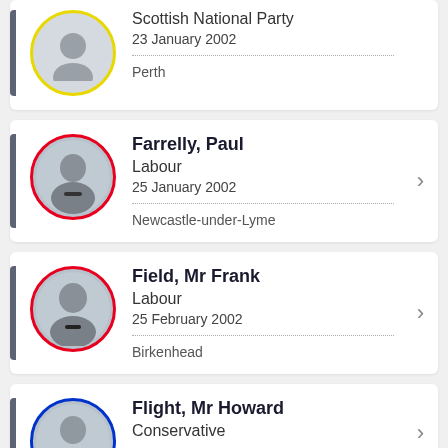Scottish National Party
23 January 2002
Perth
Farrelly, Paul
Labour
25 January 2002
Newcastle-under-Lyme
Field, Mr Frank
Labour
25 February 2002
Birkenhead
Flight, Mr Howard
Conservative